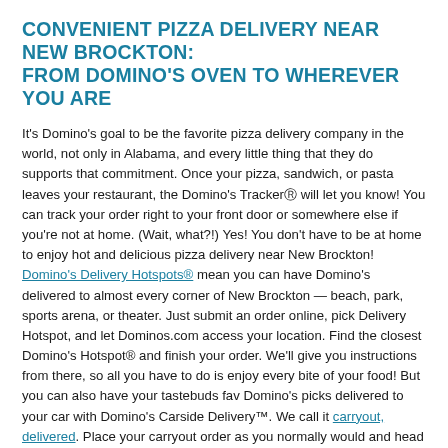CONVENIENT PIZZA DELIVERY NEAR NEW BROCKTON: FROM DOMINO'S OVEN TO WHEREVER YOU ARE
It's Domino's goal to be the favorite pizza delivery company in the world, not only in Alabama, and every little thing that they do supports that commitment. Once your pizza, sandwich, or pasta leaves your restaurant, the Domino's Tracker® will let you know! You can track your order right to your front door or somewhere else if you're not at home. (Wait, what?!) Yes! You don't have to be at home to enjoy hot and delicious pizza delivery near New Brockton! Domino's Delivery Hotspots® mean you can have Domino's delivered to almost every corner of New Brockton — beach, park, sports arena, or theater. Just submit an order online, pick Delivery Hotspot, and let Dominos.com access your location. Find the closest Domino's Hotspot® and finish your order. We'll give you instructions from there, so all you have to do is enjoy every bite of your food! But you can also have your tastebuds fav Domino's picks delivered to your car with Domino's Carside Delivery™. We call it carryout, delivered. Place your carryout order as you normally would and head our way. When you pull up, a friendly team member will bring your hot delicious food and place it in your car. It's totally smart and totally contact-free.